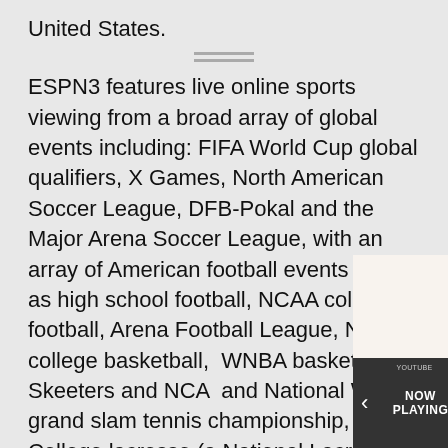United States.
ESPN3 features live online sports viewing from a broad array of global events including: FIFA World Cup global qualifiers, X Games, North American Soccer League, DFB-Pokal and the Major Arena Soccer League, with an array of American football events such as high school football, NCAA college football, Arena Football League, NCAA college basketball, WNBA basketball, Skeeters and NCA and National Wor grand slam tennis championship, cri College lacrosse (a National Lacrosse contests such as t
[Figure (photo): Dish soap thumbnail showing a yellow bowl with white foam and dish soap being stirred with a spoon. Title reads 'DISH SOAP'. Watermark '5 MINUTECRAFTS' visible.]
[Figure (screenshot): Bottom row of video thumbnails: 'NOW PLAYING' with left arrow, a brown textured thumbnail, and a thumbnail with two young men on a green background with TikTok icon.]